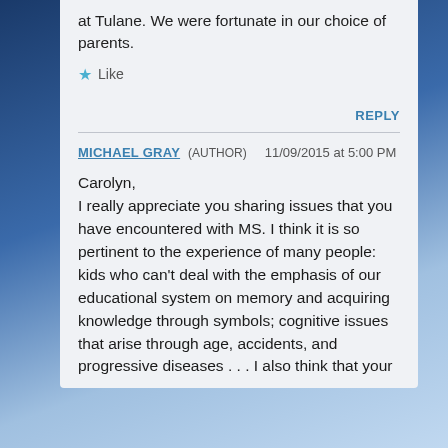at Tulane. We were fortunate in our choice of parents.
Like
REPLY
MICHAEL GRAY (AUTHOR)  11/09/2015 at 5:00 PM
Carolyn,
I really appreciate you sharing issues that you have encountered with MS. I think it is so pertinent to the experience of many people: kids who can't deal with the emphasis of our educational system on memory and acquiring knowledge through symbols; cognitive issues that arise through age, accidents, and progressive diseases . . . I also think that your